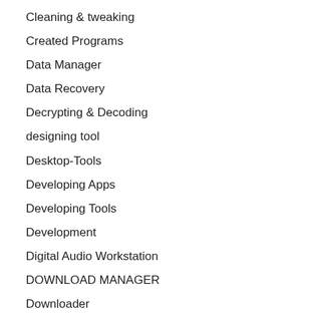Cleaning & tweaking
Created Programs
Data Manager
Data Recovery
Decrypting & Decoding
designing tool
Desktop-Tools
Developing Apps
Developing Tools
Development
Digital Audio Workstation
DOWNLOAD MANAGER
Downloader
DRIVER UPDATER